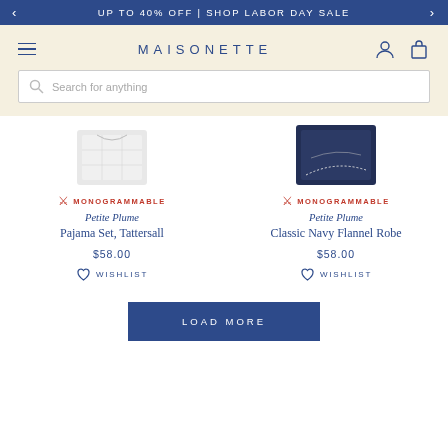UP TO 40% OFF | SHOP LABOR DAY SALE
[Figure (logo): Maisonette website header with hamburger menu, MAISONETTE logo, user and cart icons]
Search for anything
[Figure (photo): Partial product images - left: white fabric item (pajama), right: navy flannel fabric item (robe)]
MONOGRAMMABLE
Petite Plume
Pajama Set, Tattersall
$58.00
WISHLIST
MONOGRAMMABLE
Petite Plume
Classic Navy Flannel Robe
$58.00
WISHLIST
LOAD MORE